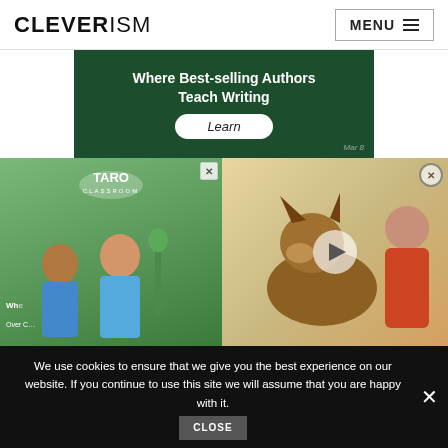CLEVERISM | MENU
[Figure (screenshot): Advertisement banner: dark green chalkboard background with text 'Where Best-selling Authors Teach Writing' and a white rounded 'Learn' button]
[Figure (screenshot): Two overlapping advertisement images: left shows children with Taro Classroom badge, right shows a German Shepherd dog with a woman and a video play button overlay]
We use cookies to ensure that we give you the best experience on our website. If you continue to use this site we will assume that you are happy with it.
[Figure (screenshot): Bottom advertisement banner: '37 HOME AND KITCHEN ITEMS EVERYONE SHOULD OWN' with colorful product image and red badge with '22']